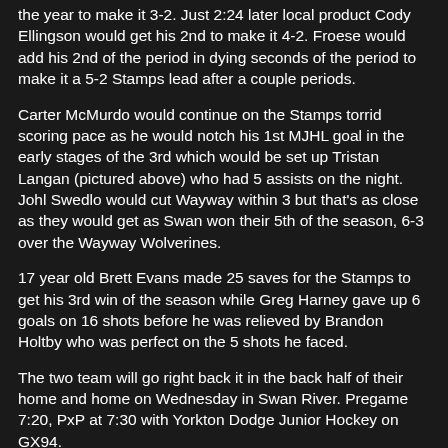the year to make it 3-2. Just 2:24 later local product Cody Ellingson would get his 2nd to make it 4-2. Froese would add his 2nd of the period in dying seconds of the period to make it a 5-2 Stamps lead after a couple periods.
Carter McMurdo would continue on the Stamps torrid scoring pace as he would notch his 1st MJHL goal in the early stages of the 3rd which would be set up Tristan Langan (pictured above) who had 5 assists on the night. Johl Swedlo would cut Wayway within 3 but that's as close as they would get as Swan won their 5th of the season, 6-3 over the Wayway Wolverines.
17 year old Brett Evans made 25 saves for the Stamps to get his 3rd win of the season while Greg Harney gave up 6 goals on 16 shots before he was relieved by Brandon Holtby who was perfect on the 5 shots he faced.
The two team will go right back it in the back half of their home and home on Wednesday in Swan River. Pregame 7:20, PxP at 7:30 with Yorkton Dodge Junior Hockey on GX94.